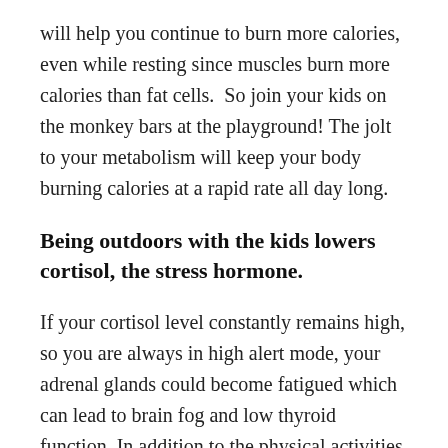will help you continue to burn more calories, even while resting since muscles burn more calories than fat cells.  So join your kids on the monkey bars at the playground! The jolt to your metabolism will keep your body burning calories at a rapid rate all day long.
Being outdoors with the kids lowers cortisol, the stress hormone.
If your cortisol level constantly remains high, so you are always in high alert mode, your adrenal glands could become fatigued which can lead to brain fog and low thyroid function. In addition to the physical activities outside